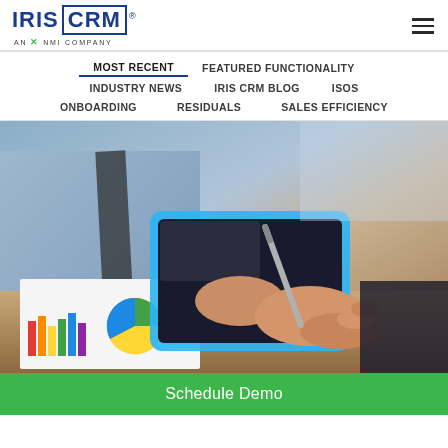IRIS CRM — AN NMI COMPANY
MOST RECENT | FEATURED FUNCTIONALITY | INDUSTRY NEWS | IRIS CRM BLOG | ISOS | ONBOARDING | RESIDUALS | SALES EFFICIENCY
[Figure (photo): Business professional signing or writing on a tablet/smartphone with a stylus pen, with colorful pie charts and bar charts visible on paper documents in the background on a wooden desk.]
Schedule Demo